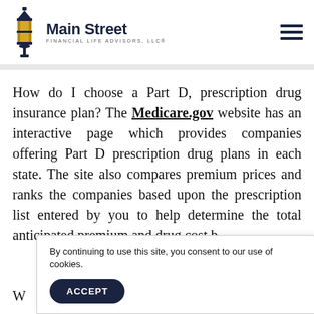Main Street Financial Life Advisors, LLC®
How do I choose a Part D, prescription drug insurance plan? The Medicare.gov website has an interactive page which provides companies offering Part D prescription drug plans in each state. The site also compares premium prices and ranks the companies based upon the prescription list entered by you to help determine the total anticipated premium and drug cost b
By continuing to use this site, you consent to our use of cookies.
ACCEPT